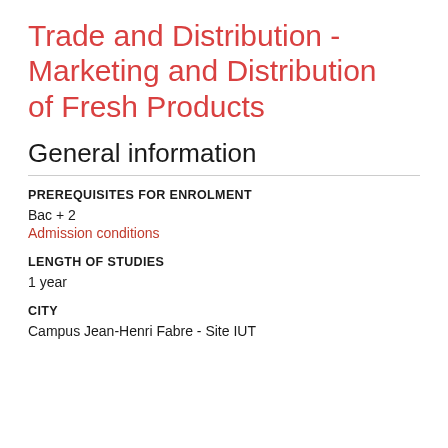Trade and Distribution - Marketing and Distribution of Fresh Products
General information
PREREQUISITES FOR ENROLMENT
Bac + 2
Admission conditions
LENGTH OF STUDIES
1 year
CITY
Campus Jean-Henri Fabre - Site IUT